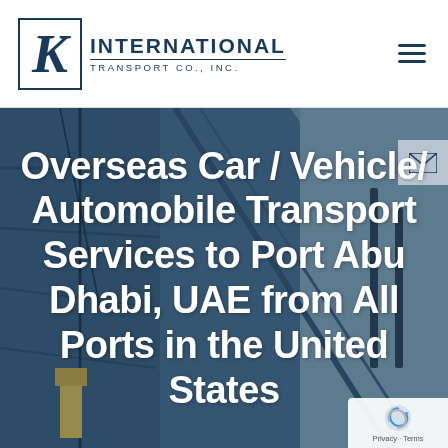[Figure (logo): K International Transport Co., Inc. logo with large italic K in bordered box and company name text]
[Figure (photo): Industrial port/shipping scene with large blue ship hull and crane equipment in background]
Overseas Car / Vehicle/ Automobile Transport Services to Port Abu Dhabi, UAE from All Ports in the United States